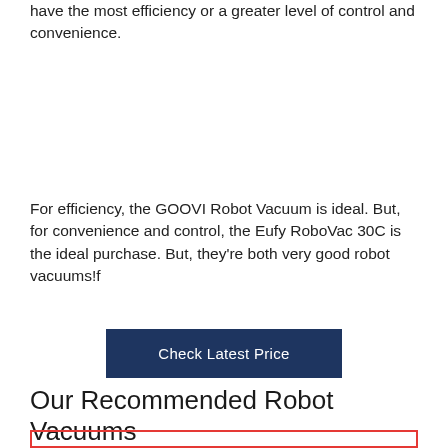have the most efficiency or a greater level of control and convenience.
For efficiency, the GOOVI Robot Vacuum is ideal. But, for convenience and control, the Eufy RoboVac 30C is the ideal purchase. But, they're both very good robot vacuums!f
Check Latest Price
Our Recommended Robot Vacuums